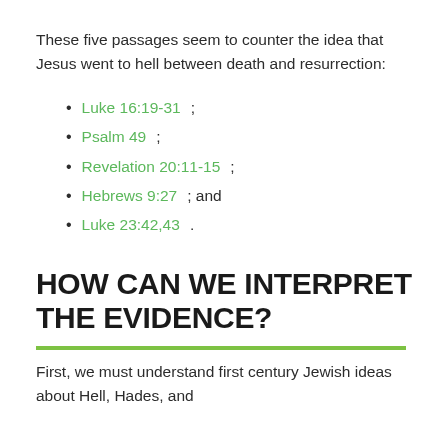These five passages seem to counter the idea that Jesus went to hell between death and resurrection:
Luke 16:19-31;
Psalm 49;
Revelation 20:11-15;
Hebrews 9:27; and
Luke 23:42,43.
HOW CAN WE INTERPRET THE EVIDENCE?
First, we must understand first century Jewish ideas about Hell, Hades, and